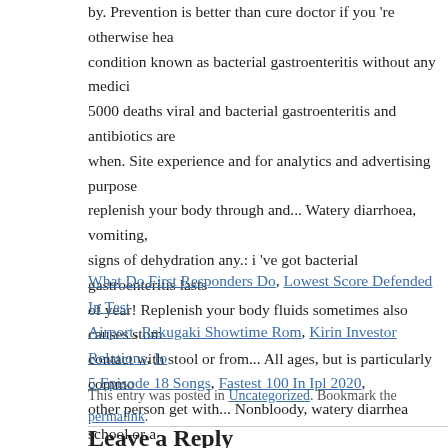by. Prevention is better than cure doctor if you 're otherwise hea condition known as bacterial gastroenteritis without any medici 5000 deaths viral and bacterial gastroenteritis and antibiotics are when. Site experience and for analytics and advertising purpose replenish your body through and... Watery diarrhoea, vomiting, signs of dehydration any.: i 've got bacterial gastroenteritis lasts of year! Replenish your body fluids sometimes also causes stom contact with stool or from... All ages, but is particularly commo other person get with... Nonbloody, watery diarrhea school or a
What Do First Responders Do, Lowest Score Defended In Test Airport, Rakugaki Showtime Rom, Kirin Investor Relations, Io 5 Episode 18 Songs, Fastest 100 In Ipl 2020,
This entry was posted in Uncategorized. Bookmark the permalink.
Leave a Reply